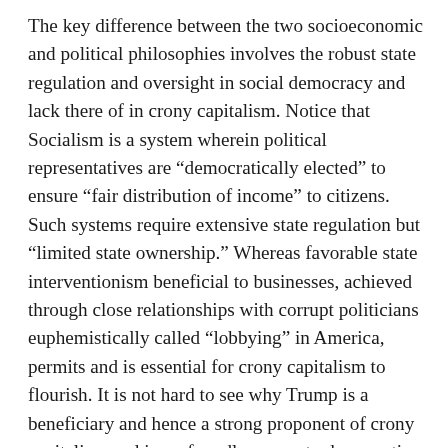The key difference between the two socioeconomic and political philosophies involves the robust state regulation and oversight in social democracy and lack there of in crony capitalism. Notice that Socialism is a system wherein political representatives are “democratically elected” to ensure “fair distribution of income” to citizens. Such systems require extensive state regulation but “limited state ownership.” Whereas favorable state interventionism beneficial to businesses, achieved through close relationships with corrupt politicians euphemistically called “lobbying” in America, permits and is essential for crony capitalism to flourish. It is not hard to see why Trump is a beneficiary and hence a strong proponent of crony capitalism and is profoundly averse to democratic socialism. He simply hates government oversight.